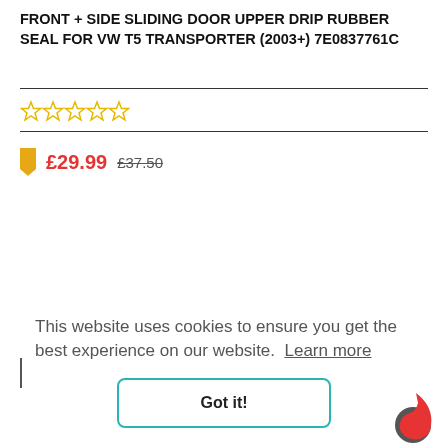FRONT + SIDE SLIDING DOOR UPPER DRIP RUBBER SEAL FOR VW T5 TRANSPORTER (2003+) 7E0837761C
☆☆☆☆☆
£29.99  £37.50
This website uses cookies to ensure you get the best experience on our website. Learn more
Got it!